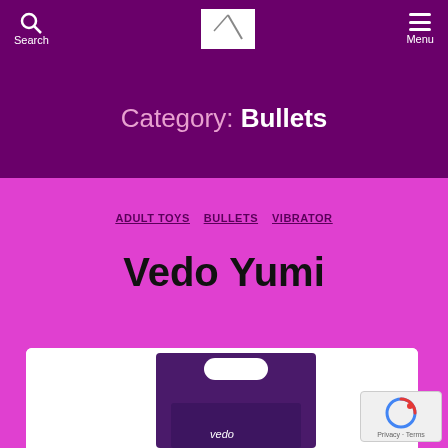Search  Menu
Category: Bullets
ADULT TOYS  BULLETS  VIBRATOR
Vedo Yumi
[Figure (photo): Product photo showing Vedo Yumi bullet vibrator packaging — a dark purple card backing with the Vedo logo, displayed on a white background]